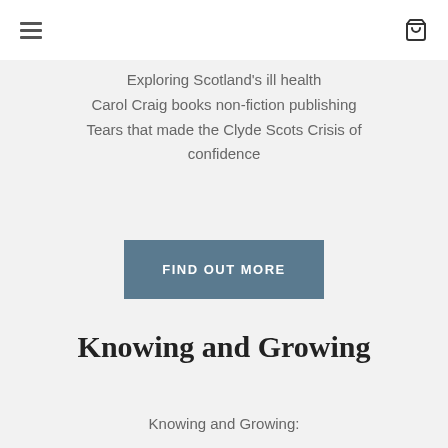≡ 🛒
Exploring Scotland's ill health
Carol Craig books non-fiction publishing
Tears that made the Clyde Scots Crisis of confidence
FIND OUT MORE
Knowing and Growing
Knowing and Growing: